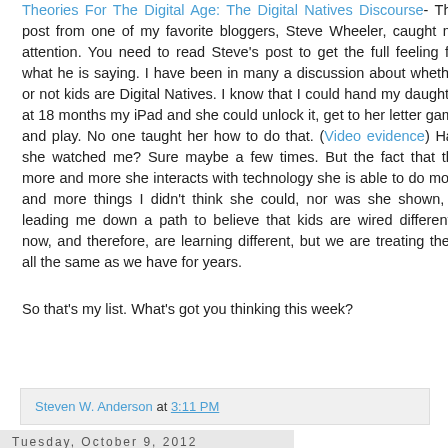Theories For The Digital Age: The Digital Natives Discourse- This post from one of my favorite bloggers, Steve Wheeler, caught my attention. You need to read Steve's post to get the full feeling for what he is saying. I have been in many a discussion about whether or not kids are Digital Natives. I know that I could hand my daughter at 18 months my iPad and she could unlock it, get to her letter game and play. No one taught her how to do that. (Video evidence) Had she watched me? Sure maybe a few times. But the fact that the more and more she interacts with technology she is able to do more and more things I didn't think she could, nor was she shown, is leading me down a path to believe that kids are wired differently now, and therefore, are learning different, but we are treating them all the same as we have for years.
So that's my list. What's got you thinking this week?
Steven W. Anderson at 3:11 PM
Tuesday, October 9, 2012